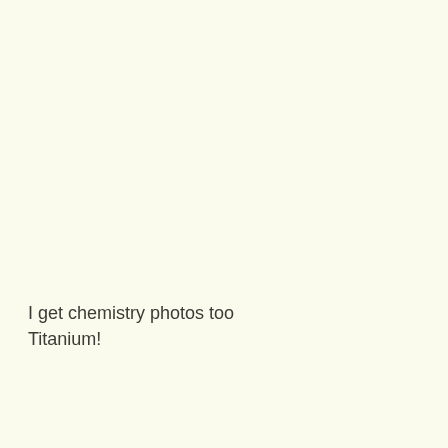I get chemistry photos too
Titanium!